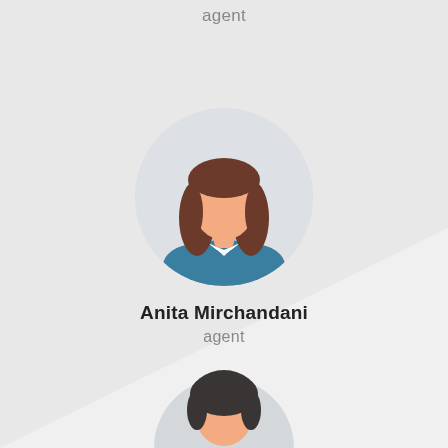agent
[Figure (illustration): Female avatar illustration with brown hair and teal top, inside a circular light gray background. Name: Anita Mirchandani, role: agent.]
Anita Mirchandani
agent
[Figure (illustration): Bottom portion of a male avatar illustration with dark hair, partially visible at the bottom of the page.]